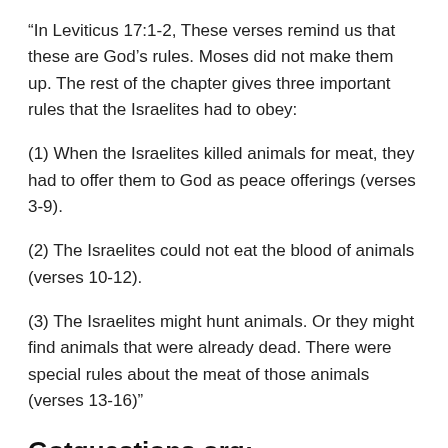“In Leviticus 17:1-2, These verses remind us that these are God’s rules. Moses did not make them up. The rest of the chapter gives three important rules that the Israelites had to obey:
(1) When the Israelites killed animals for meat, they had to offer them to God as peace offerings (verses 3-9).
(2) The Israelites could not eat the blood of animals (verses 10-12).
(3) The Israelites might hunt animals. Or they might find animals that were already dead. There were special rules about the meat of those animals (verses 13-16)”
Gotquestions.org: